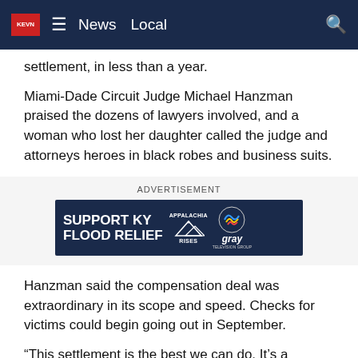KEVN | News | Local
settlement, in less than a year.
Miami-Dade Circuit Judge Michael Hanzman praised the dozens of lawyers involved, and a woman who lost her daughter called the judge and attorneys heroes in black robes and business suits.
[Figure (infographic): Advertisement banner: SUPPORT KY FLOOD RELIEF with Appalachia Rises and Gray TV logos on dark navy background]
Hanzman said the compensation deal was extraordinary in its scope and speed. Checks for victims could begin going out in September.
“This settlement is the best we can do. It’s a remarkable